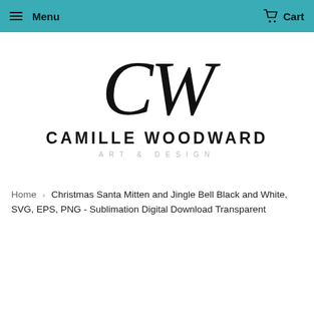Menu  Cart
[Figure (logo): Camille Woodward Art & Design logo with stylized 'CW' in italic script above bold uppercase text 'CAMILLE WOODWARD' and lighter subtitle 'ART & DESIGN']
Home › Christmas Santa Mitten and Jingle Bell Black and White, SVG, EPS, PNG - Sublimation Digital Download Transparent